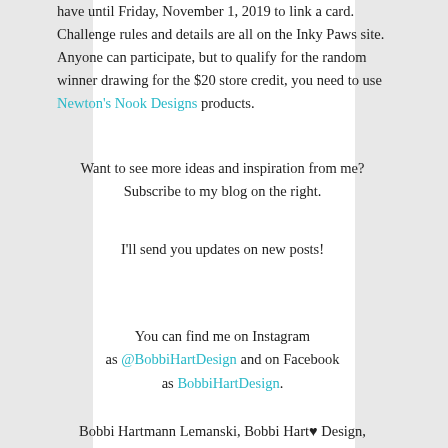have until Friday, November 1, 2019 to link a card. Challenge rules and details are all on the Inky Paws site. Anyone can participate, but to qualify for the random winner drawing for the $20 store credit, you need to use Newton's Nook Designs products.
Want to see more ideas and inspiration from me? Subscribe to my blog on the right.
I'll send you updates on new posts!
You can find me on Instagram as @BobbiHartDesign and on Facebook as BobbiHartDesign.
Bobbi Hartmann Lemanski, Bobbi Hart♥ Design,